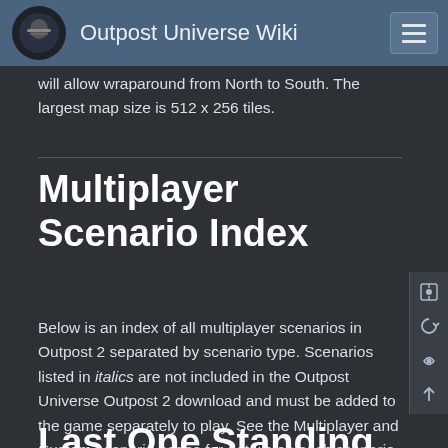Outpost Universe Wiki
will allow wraparound from North to South. The largest map size is 512 x 256 tiles.
Multiplayer Scenario Index
Below is an index of all multiplayer scenarios in Outpost 2 separated by scenario type. Scenarios listed in italics are not included in the Outpost Universe Outpost 2 download and must be added to the game separately to play. See the Multiplayer and Custom scenario pages for details on each scenario.
Last One Standing (LoS)